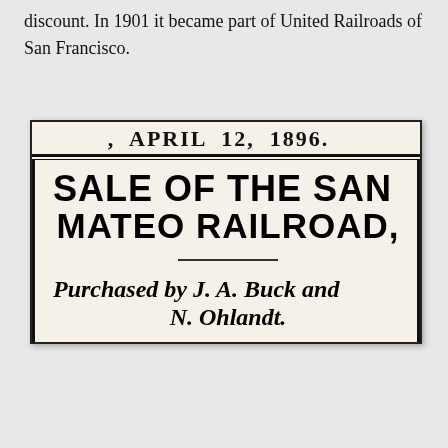discount. In 1901 it became part of United Railroads of San Francisco.
[Figure (other): Scanned newspaper clipping dated APRIL 12, 1896, with headline 'SALE OF THE SAN MATEO RAILROAD,' and subheadline 'Purchased by J. A. Buck and N. Ohlandt.']